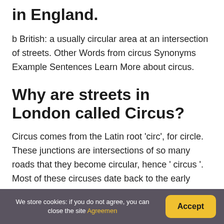in England.
b British: a usually circular area at an intersection of streets. Other Words from circus Synonyms Example Sentences Learn More about circus.
Why are streets in London called Circus?
Circus comes from the Latin root 'circ', for circle. These junctions are intersections of so many roads that they become circular, hence ' circus '. Most of these circuses date back to the early Victorian era, dating and more...
We store cookies: if you do not agree, you can close the site Agreemen    Accept